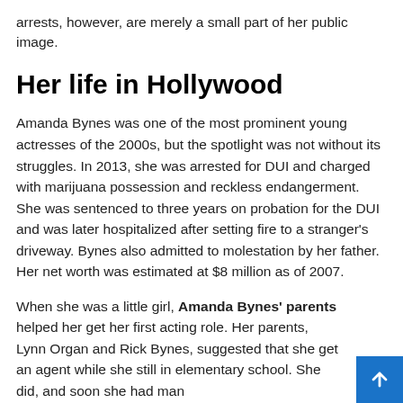arrests, however, are merely a small part of her public image.
Her life in Hollywood
Amanda Bynes was one of the most prominent young actresses of the 2000s, but the spotlight was not without its struggles. In 2013, she was arrested for DUI and charged with marijuana possession and reckless endangerment. She was sentenced to three years on probation for the DUI and was later hospitalized after setting fire to a stranger's driveway. Bynes also admitted to molestation by her father. Her net worth was estimated at $8 million as of 2007.
When she was a little girl, Amanda Bynes' parents helped her get her first acting role. Her parents, Lynn Organ and Rick Bynes, suggested that she get an agent while she still in elementary school. She did, and soon she had many